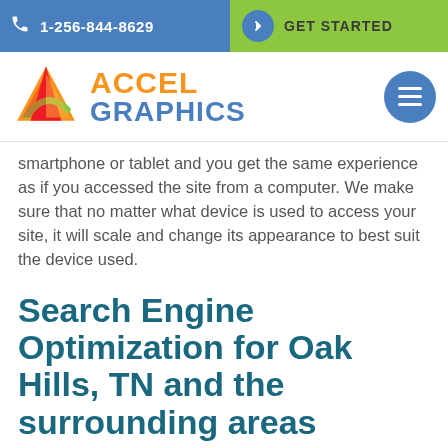1-256-844-8629  GET STARTED
[Figure (logo): Accel Graphics logo with colorful triangle A and orange/blue text]
smartphone or tablet and you get the same experience as if you accessed the site from a computer. We make sure that no matter what device is used to access your site, it will scale and change its appearance to best suit the device used.
Search Engine Optimization for Oak Hills, TN and the surrounding areas